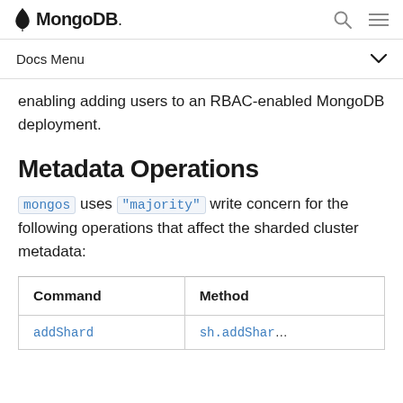MongoDB
Docs Menu
enabling adding users to an RBAC-enabled MongoDB deployment.
Metadata Operations
mongos uses "majority" write concern for the following operations that affect the sharded cluster metadata:
| Command | Method |
| --- | --- |
| addShard | sh.addShard |